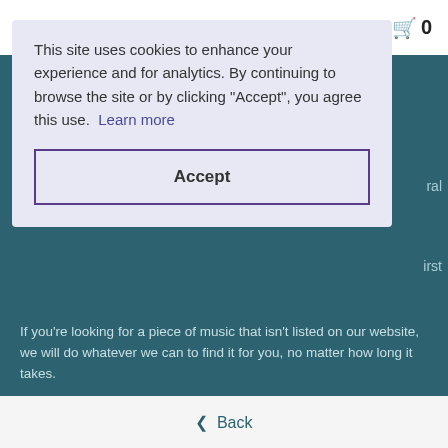[Figure (screenshot): Shopping cart icon with count 0 in top right corner]
This site uses cookies to enhance your experience and for analytics. By continuing to browse the site or by clicking "Accept", you agree this use.  Learn more
Accept
If you're looking for a piece of music that isn't listed on our website, we will do whatever we can to find it for you, no matter how long it takes.
VAT No: 172 1180 92 GB
EORI No: GB172118092000
Knowledgeable, Friendly, Helpful
◀ Back